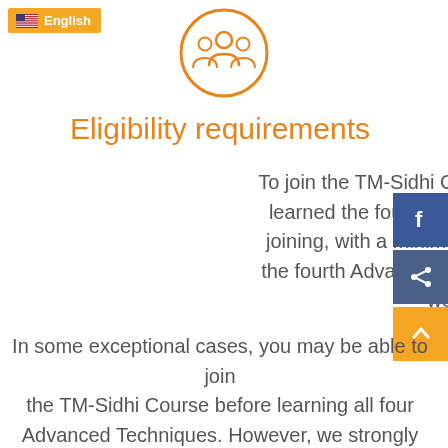[Figure (illustration): Language badge with US flag and text 'English' on orange background, top left]
[Figure (illustration): Orange circle icon with three people silhouettes, centered at top]
Eligibility requirements
To join the TM-Sidhi Course, you'll need to have learned the four Advanced Techniques before joining, with a minimum of two months between the fourth Advanced Technique and starting the weekend.
In some exceptional cases, you may be able to join the TM-Sidhi Course before learning all four Advanced Techniques. However, we strongly recommend completing the programme sequentially as it's designed so you can enjoy its full